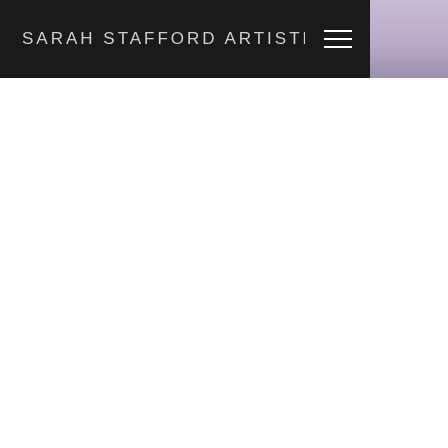SARAH STAFFORD ARTISTRY
[Figure (photo): Partial view of a person wearing a light purple/lavender top, visible in the upper right corner of the page behind a dark navigation header bar.]